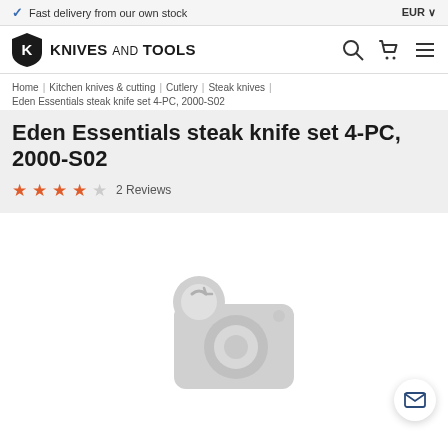✓ Fast delivery from our own stock   EUR ∨
[Figure (logo): Knives and Tools logo with shield icon and text 'KNIVES AND TOOLS' with search, cart, and menu icons]
Home | Kitchen knives & cutting | Cutlery | Steak knives | Eden Essentials steak knife set 4-PC, 2000-S02
Eden Essentials steak knife set 4-PC, 2000-S02
★★★★☆  2 Reviews
[Figure (photo): Placeholder camera icon indicating product image not loaded, shown in light gray]